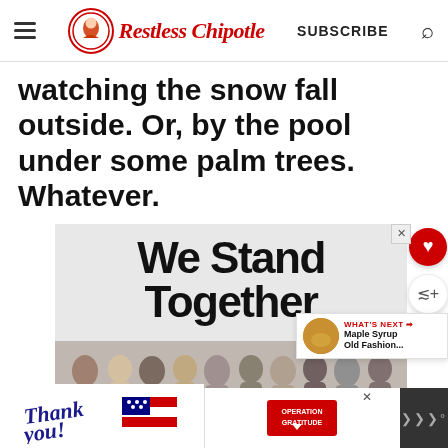Restless Chipotle — SUBSCRIBE
watching the snow fall outside. Or, by the pool under some palm trees. Whatever.
[Figure (photo): Advertisement banner reading 'We Stand Together' with group of people seen from behind with arms around each other]
[Figure (photo): Bottom banner advertisements: 'Thank you!' with flag and 'Operation Gratitude' logo]